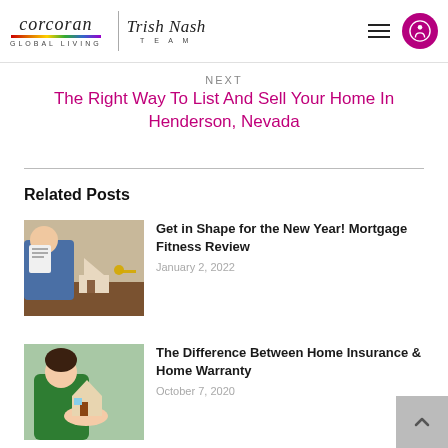[Figure (logo): Corcoran Global Living | Trish Nash Team logo with rainbow underline and hamburger menu]
NEXT
The Right Way To List And Sell Your Home In Henderson, Nevada
Related Posts
[Figure (photo): Person in suit with miniature house model on desk, handing keys]
Get in Shape for the New Year! Mortgage Fitness Review
January 2, 2022
[Figure (photo): Person in green shirt holding miniature house model]
The Difference Between Home Insurance & Home Warranty
October 7, 2020